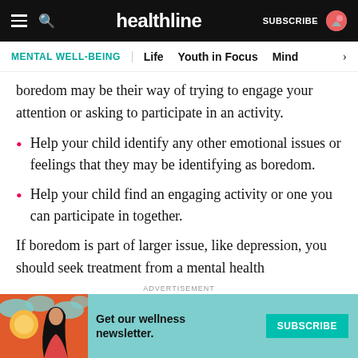healthline — SUBSCRIBE
MENTAL WELL-BEING | Life | Youth in Focus | Mind
boredom may be their way of trying to engage your attention or asking to participate in an activity.
Help your child identify any other emotional issues or feelings that they may be identifying as boredom.
Help your child find an engaging activity or one you can participate in together.
If boredom is part of larger issue, like depression, you should seek treatment from a mental health
[Figure (infographic): Advertisement banner with a wellness newsletter subscription prompt. Shows an illustration of a woman with long dark hair against an orange/red background with teal cloud shapes. Text reads 'Get our wellness newsletter.' with a teal SUBSCRIBE button.]